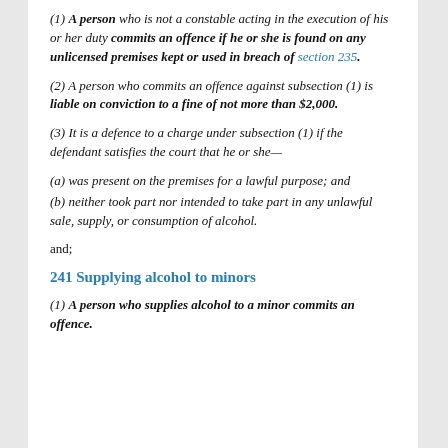(1) A person who is not a constable acting in the execution of his or her duty commits an offence if he or she is found on any unlicensed premises kept or used in breach of section 235.
(2) A person who commits an offence against subsection (1) is liable on conviction to a fine of not more than $2,000.
(3) It is a defence to a charge under subsection (1) if the defendant satisfies the court that he or she—
(a) was present on the premises for a lawful purpose; and
(b) neither took part nor intended to take part in any unlawful sale, supply, or consumption of alcohol.
and;
241 Supplying alcohol to minors
(1) A person who supplies alcohol to a minor commits an offence.